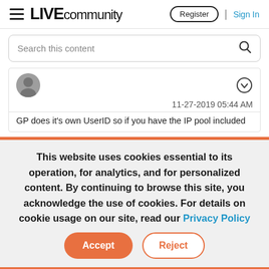LIVE community | Register | Sign In
Search this content
11-27-2019 05:44 AM
GP does it's own UserID so if you have the IP pool included
This website uses cookies essential to its operation, for analytics, and for personalized content. By continuing to browse this site, you acknowledge the use of cookies. For details on cookie usage on our site, read our Privacy Policy
Accept
Reject